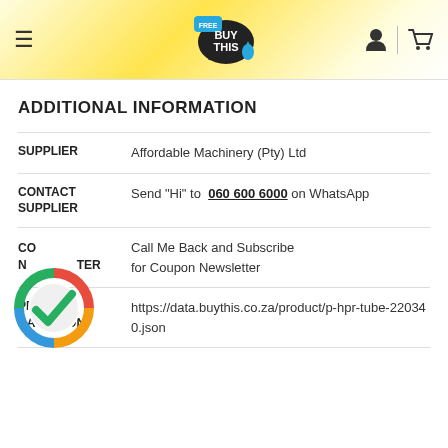BUY THIS (Free) — navigation header with logo, hamburger menu, user icon, cart icon
ADDITIONAL INFORMATION
|  |  |
| --- | --- |
| SUPPLIER | Affordable Machinery (Pty) Ltd |
| CONTACT SUPPLIER | Send "Hi" to 060 600 6000 on WhatsApp |
| CONTACT NEWSLETTER | Call Me Back and Subscribe for Coupon Newsletter |
| PRODUCT DATA JSON | https://data.buythis.co.za/product/p-hpr-tube-220340.json |